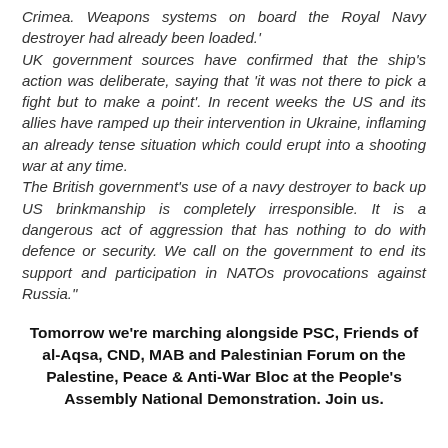Crimea. Weapons systems on board the Royal Navy destroyer had already been loaded.' UK government sources have confirmed that the ship's action was deliberate, saying that 'it was not there to pick a fight but to make a point'. In recent weeks the US and its allies have ramped up their intervention in Ukraine, inflaming an already tense situation which could erupt into a shooting war at any time. The British government's use of a navy destroyer to back up US brinkmanship is completely irresponsible. It is a dangerous act of aggression that has nothing to do with defence or security. We call on the government to end its support and participation in NATOs provocations against Russia."
Tomorrow we're marching alongside PSC, Friends of al-Aqsa, CND, MAB and Palestinian Forum on the Palestine, Peace & Anti-War Bloc at the People's Assembly National Demonstration. Join us.